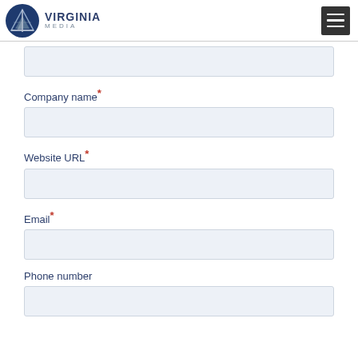[Figure (logo): Virginia Media logo with circular blue icon containing a V and triangle design, and VIRGINIA MEDIA text]
[input field - top, partially visible]
Company name*
[input field]
Website URL*
[input field]
Email*
[input field]
Phone number
[input field]